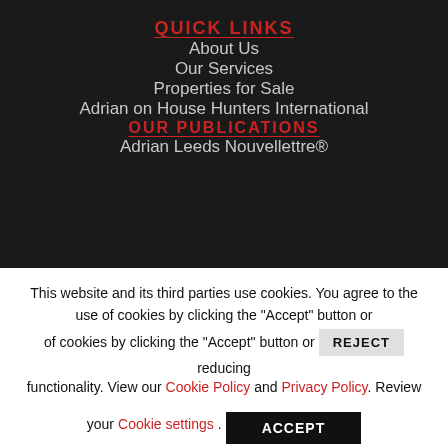QUICK LINKS
About Us
Our Services
Properties for Sale
Adrian on House Hunters International
OUR PUBLICATIONS
Adrian Leeds Nouvellettre®
This website and its third parties use cookies. You agree to the use of cookies by clicking the "Accept" button or REJECT reducing functionality. View our Cookie Policy and Privacy Policy. Review your Cookie settings.